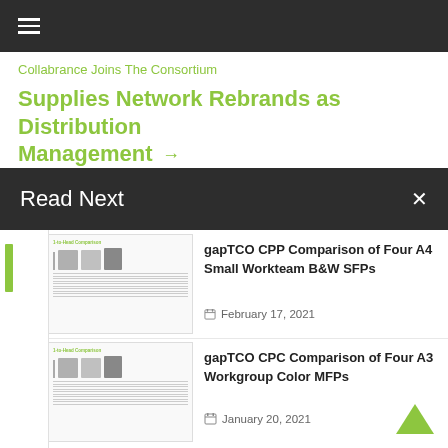≡ (hamburger menu)
Collabrance Joins The Consortium
Supplies Network Rebrands as Distribution Management →
Read Next ✕
[Figure (screenshot): Thumbnail of gapTCO CPP Comparison document showing Head-to-Head Comparison with four printer images and comparison table]
gapTCO CPP Comparison of Four A4 Small Workteam B&W SFPs
February 17, 2021
[Figure (screenshot): Thumbnail of gapTCO CPC Comparison document showing Head-to-Head Comparison with four printer images and comparison table]
gapTCO CPC Comparison of Four A3 Workgroup Color MFPs
January 20, 2021